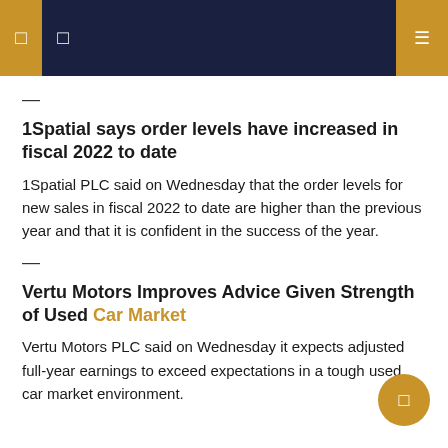navigation header with icons
—
1Spatial says order levels have increased in fiscal 2022 to date
1Spatial PLC said on Wednesday that the order levels for new sales in fiscal 2022 to date are higher than the previous year and that it is confident in the success of the year.
—
Vertu Motors Improves Advice Given Strength of Used Car Market
Vertu Motors PLC said on Wednesday it expects adjusted full-year earnings to exceed expectations in a tough used car market environment.